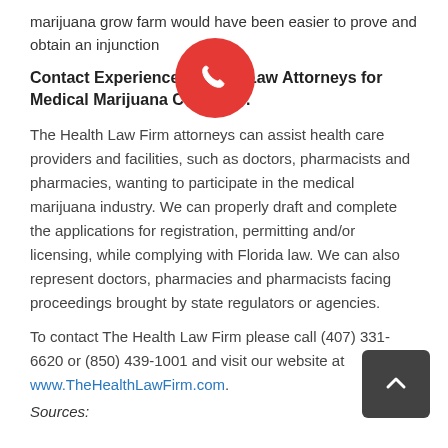marijuana grow farm would have been easier to prove and obtain an injunction
Contact Experienced Health Law Attorneys for Medical Marijuana Concerns.
The Health Law Firm attorneys can assist health care providers and facilities, such as doctors, pharmacists and pharmacies, wanting to participate in the medical marijuana industry. We can properly draft and complete the applications for registration, permitting and/or licensing, while complying with Florida law. We can also represent doctors, pharmacies and pharmacists facing proceedings brought by state regulators or agencies.
To contact The Health Law Firm please call (407) 331-6620 or (850) 439-1001 and visit our website at www.TheHealthLawFirm.com.
Sources: